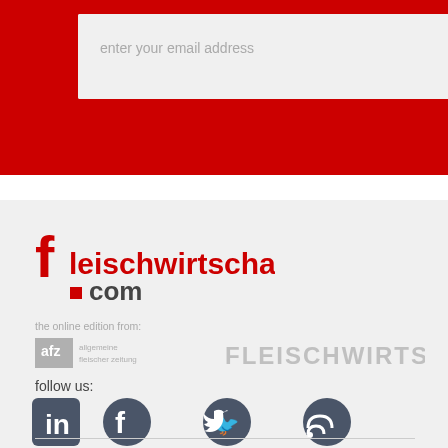[Figure (screenshot): Email subscription bar with red background, light grey input field showing 'enter your email address', red 'I'm in!' button text, and hamburger menu icon]
[Figure (logo): fleischwirtschaft.com logo: large red stylized 'f' followed by 'leischwirtschaft' in red, and '.com' with red square bullet on second line]
the online edition from:
[Figure (logo): afz allgemeine fleischer zeitung logo (greyed out) and FLEISCHWIRTSCHAFT text logo (greyed out)]
follow us:
[Figure (infographic): Four social media icons: LinkedIn, Facebook, Twitter, RSS feed — all in dark grey]